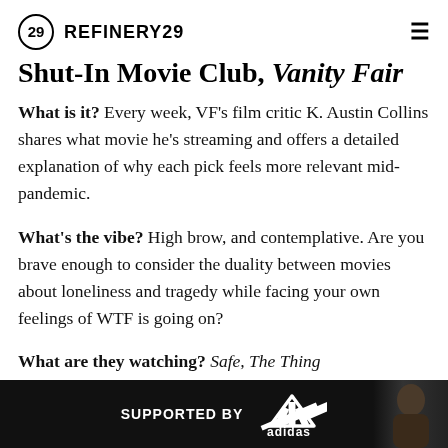REFINERY29
Shut-In Movie Club, Vanity Fair
What is it? Every week, VF's film critic K. Austin Collins shares what movie he's streaming and offers a detailed explanation of why each pick feels more relevant mid-pandemic.
What's the vibe? High brow, and contemplative. Are you brave enough to consider the duality between movies about loneliness and tragedy while facing your own feelings of WTF is going on?
What are they watching? Safe, The Thing
When
[Figure (other): Adidas advertisement banner showing 'SUPPORTED BY adidas' text with logo and a person on the right side]